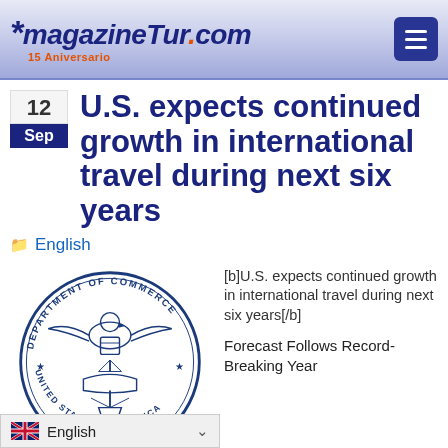magazineTur.com – 15 Aniversario
U.S. expects continued growth in international travel during next six years
English
[Figure (logo): U.S. Department of Commerce circular seal in blue]
[b]U.S. expects continued growth in international travel during next six years[/b]
Forecast Follows Record-Breaking Year